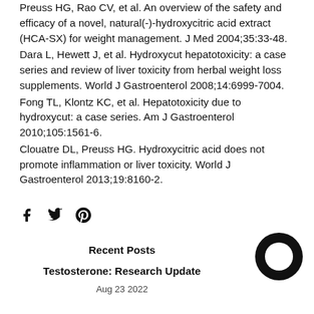Preuss HG, Rao CV, et al. An overview of the safety and efficacy of a novel, natural(-)-hydroxycitric acid extract (HCA-SX) for weight management. J Med 2004;35:33-48.
Dara L, Hewett J, et al. Hydroxycut hepatotoxicity: a case series and review of liver toxicity from herbal weight loss supplements. World J Gastroenterol 2008;14:6999-7004.
Fong TL, Klontz KC, et al. Hepatotoxicity due to hydroxycut: a case series. Am J Gastroenterol 2010;105:1561-6.
Clouatre DL, Preuss HG. Hydroxycitric acid does not promote inflammation or liver toxicity. World J Gastroenterol 2013;19:8160-2.
[Figure (infographic): Social media share icons: Facebook (f), Twitter (bird), Pinterest (p)]
Recent Posts
[Figure (illustration): Chat bubble / messenger icon, circular black]
Testosterone: Research Update
Aug 23 2022